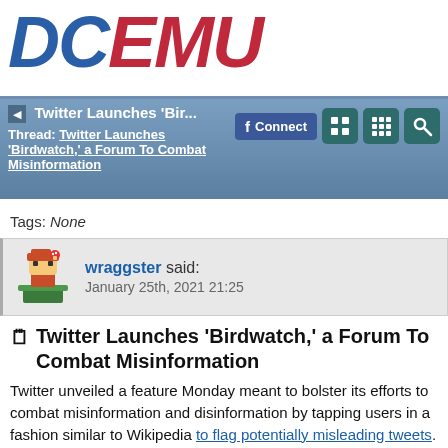[Figure (logo): DCEMU logo with DC in blue italic and EMU in red italic, large bold text]
Twitter Launches 'Bir... | Thread: Twitter Launches 'Birdwatch,' a Forum To Combat Misinformation
Tags: None
wraggster said: January 25th, 2021 21:25
Twitter Launches 'Birdwatch,' a Forum To Combat Misinformation
Twitter unveiled a feature Monday meant to bolster its efforts to combat misinformation and disinformation by tapping users in a fashion similar to Wikipedia to flag potentially misleading tweets. From a report:The new system allows users to discuss and provide context to tweets they believe are misleading or false. The project, titled Birdwatch, is a standalone section of Twitter that will at first only be available to a small set of users, largely on a